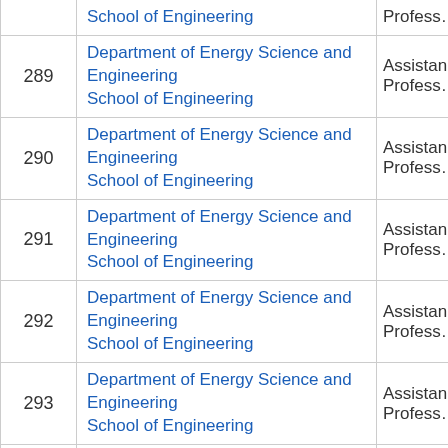| # | Department / School | Role |
| --- | --- | --- |
|  | School of Engineering | Profess… |
| 289 | Department of Energy Science and Engineering
School of Engineering | Assistan…
Profess… |
| 290 | Department of Energy Science and Engineering
School of Engineering | Assistan…
Profess… |
| 291 | Department of Energy Science and Engineering
School of Engineering | Assistan…
Profess… |
| 292 | Department of Energy Science and Engineering
School of Engineering | Assistan…
Profess… |
| 293 | Department of Energy Science and Engineering
School of Engineering | Assistan…
Profess… |
| 294 | Department of Energy Science and Engineering
School of Engineering | Assistan…
Profess… |
| 295 | Department of Energy Science and Engineering
School of Engineering | Assistan…
Profess… |
| 296 | Department of Energy Science and Engineering | Assistan… |